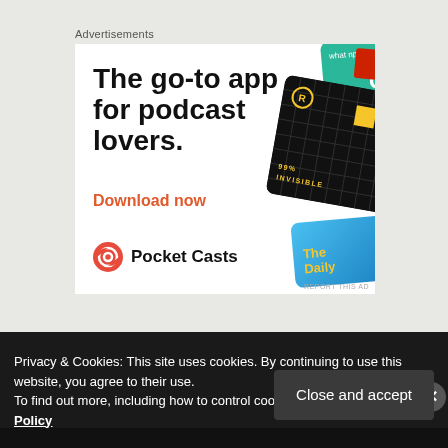Advertisements
[Figure (illustration): Pocket Casts advertisement banner. Large bold text reads 'The go-to app for podcast lovers.' with 'Download now' in orange below. Right side shows podcast app cards including 99% Invisible (black grid card), a teal card, and 'The Daily' blue gradient card. Pocket Casts logo and name at bottom left.]
Privacy & Cookies: This site uses cookies. By continuing to use this website, you agree to their use.
To find out more, including how to control cookies, see here: Cookie Policy